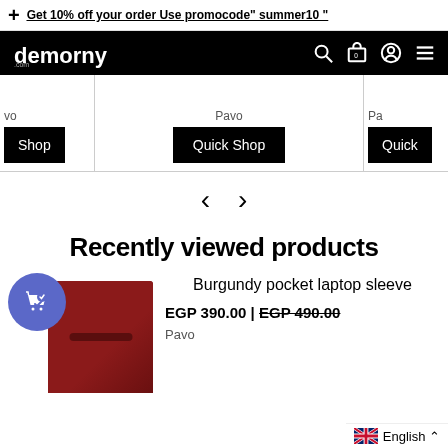+ Get 10% off your order Use promocode" summer10 "
[Figure (logo): Demorny.com logo in white on black nav bar with search, cart, account, and menu icons]
[Figure (screenshot): Product carousel strip with brand name 'Pavo' and Quick Shop buttons, partially visible left and right columns]
[Figure (other): Left and right navigation arrows for carousel]
Recently viewed products
[Figure (photo): Burgundy pocket laptop sleeve product thumbnail with cart/wishlist badge]
Burgundy pocket laptop sleeve
EGP 390.00 | EGP 490.00
Pavo
English